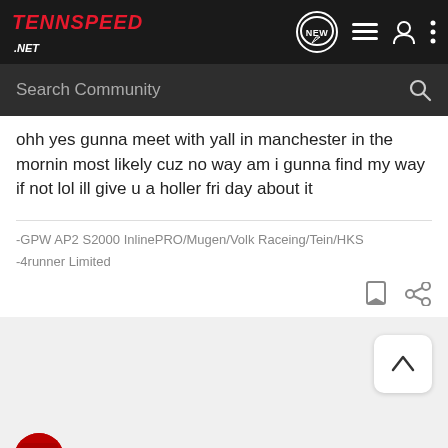TennSpeed.NET — navigation header with NEW, list, user, and menu icons
Search Community
ohh yes gunna meet with yall in manchester in the mornin most likely cuz no way am i gunna find my way if not lol ill give u a holler fri day about it
-GPW AP2 S2000 InlinePRO/Mugen/Volk Raceing/Tein/HKS
-4runner Limited
85rx-7asl-se · Mod